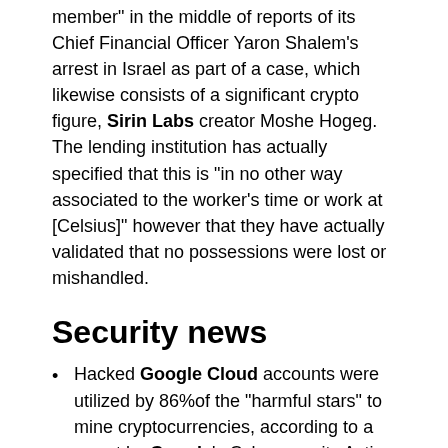member" in the middle of reports of its Chief Financial Officer Yaron Shalem's arrest in Israel as part of a case, which likewise consists of a significant crypto figure, Sirin Labs creator Moshe Hogeg. The lending institution has actually specified that this is "in no other way associated to the worker's time or work at [Celsius]" however that they have actually validated that no possessions were lost or mishandled.
Security news
Hacked Google Cloud accounts were utilized by 86%of the "harmful stars" to mine cryptocurrencies, according to a report by Google's Cybersecurity Action Team, while the rest of the hacking activities consisted of phishing frauds and ransomware. Destructive stars accessed to the Google Cloud circumstances by making the most of bad